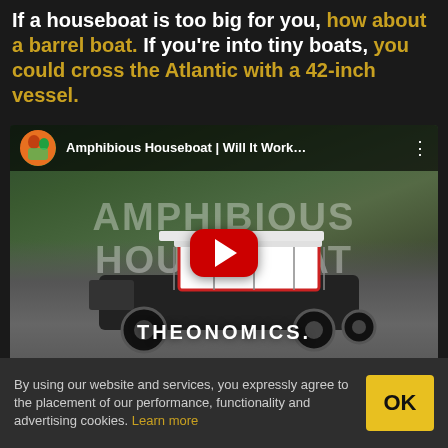If a houseboat is too big for you, how about a barrel boat. If you're into tiny boats, you could cross the Atlantic with a 42-inch vessel.
[Figure (screenshot): YouTube video thumbnail showing an amphibious houseboat vehicle on a road, with YouTube play button overlay. Video title reads 'Amphibious Houseboat | Will It Work...' with THEONOMICS branding and AMPHIBIOUS HOUSEBOAT watermark text.]
By using our website and services, you expressly agree to the placement of our performance, functionality and advertising cookies. Learn more